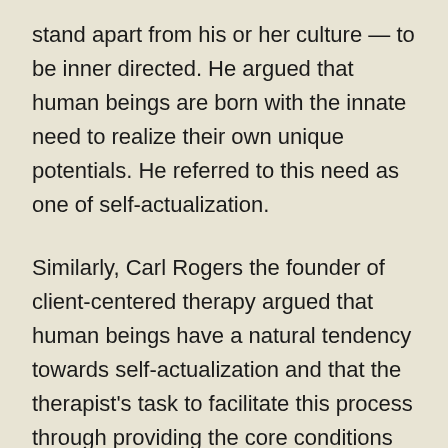stand apart from his or her culture — to be inner directed. He argued that human beings are born with the innate need to realize their own unique potentials. He referred to this need as one of self-actualization.

Similarly, Carl Rogers the founder of client-centered therapy argued that human beings have a natural tendency towards self-actualization and that the therapist's task to facilitate this process through providing the core conditions of empathy, unconditional positive regard, and congruence (Roger's term for authenticity). Another key figure in the emergence of humanistic psychology was the